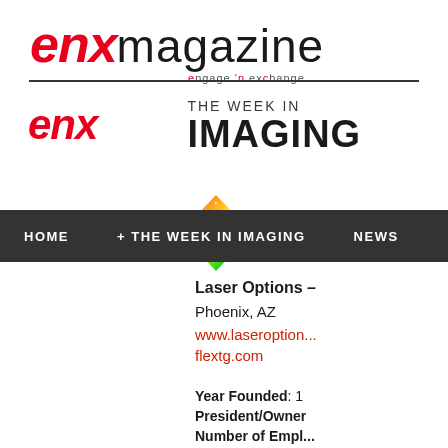[Figure (logo): ENX Magazine logo with red italic ENX and black magazine text, tagline 'engage n exchange', horizontal divider line below]
[Figure (logo): ENX The Week in Imaging logo with red italic ENX, colorful diamond/gem shape, and bold IMAGING text]
HOME   + THE WEEK IN IMAGING   NEWS
Laser Options –
Phoenix, AZ
www.laseroption...flextg.com
Year Founded: 1
President/Owner
Number of Empl...